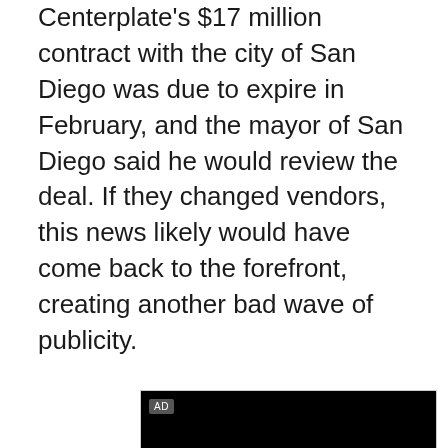Centerplate's $17 million contract with the city of San Diego was due to expire in February, and the mayor of San Diego said he would review the deal. If they changed vendors, this news likely would have come back to the forefront, creating another bad wave of publicity.
[Figure (other): Video advertisement player with black screen showing 'AD' label and speaker/volume icon, below which is a dark blue Honda HR-V advertisement banner reading 'All-New HR-V Powered by determination.']